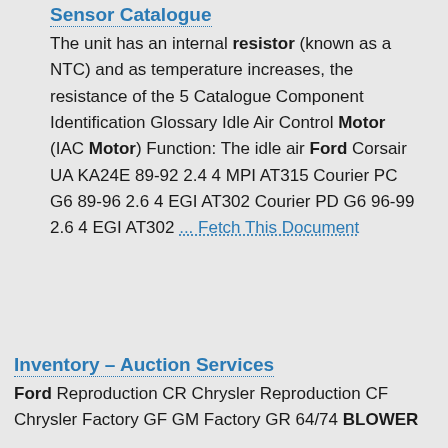Sensor Catalogue
The unit has an internal resistor (known as a NTC) and as temperature increases, the resistance of the 5 Catalogue Component Identification Glossary Idle Air Control Motor (IAC Motor) Function: The idle air Ford Corsair UA KA24E 89-92 2.4 4 MPI AT315 Courier PC G6 89-96 2.6 4 EGI AT302 Courier PD G6 96-99 2.6 4 EGI AT302 ... Fetch This Document
Inventory – Auction Services
Ford Reproduction CR Chrysler Reproduction CF Chrysler Factory GF GM Factory GR 64/74 BLOWER